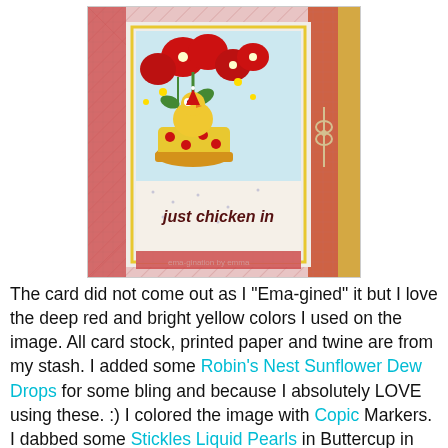[Figure (photo): A handmade greeting card featuring a cartoon chicken in a yellow polka-dotted flower pot with large red flowers. The card has a patterned red and white background with a yellow border and twine bow on the right side. Text on the card reads 'just chicken in'.]
The card did not come out as I "Ema-gined" it but I love the deep red and bright yellow colors I used on the image. All card stock, printed paper and twine are from my stash. I added some Robin's Nest Sunflower Dew Drops for some bling and because I absolutely LOVE using these. :) I colored the image with Copic Markers. I dabbed some Stickles Liquid Pearls in Buttercup in the centers of all the flowers. I also added texture to the image with Michael's